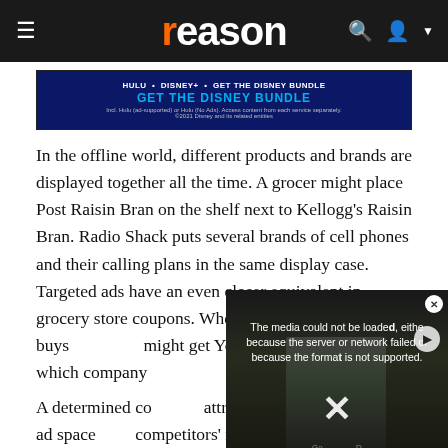reason
[Figure (screenshot): Disney Bundle advertisement banner with blue background, white and cyan text]
In the offline world, different products and brands are displayed together all the time. A grocer might place Post Raisin Bran on the shelf next to Kellogg's Raisin Bran. Radio Shack puts several brands of cell phones and their calling plans in the same display case. Targeted ads have an even closer equivalent in grocery store coupons. When a customer buys [obscured] might get Yoplait yogurt— [obscured] which company [obscured]
[Figure (screenshot): Video player overlay showing error message: The media could not be loaded, either because the server or network failed or because the format is not supported. Background shows person in suit.]
A determined co[mpany can] attract a higher [value by] buying ad space [using] competitors' names in their ads as long as they do not [continued]